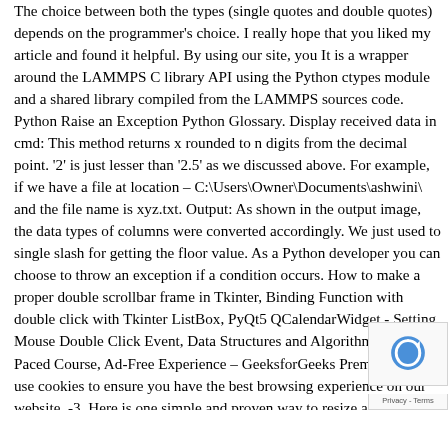The choice between both the types (single quotes and double quotes) depends on the programmer's choice. I really hope that you liked my article and found it helpful. By using our site, you It is a wrapper around the LAMMPS C library API using the Python ctypes module and a shared library compiled from the LAMMPS sources code. Python Raise an Exception Python Glossary. Display received data in cmd: This method returns x rounded to n digits from the decimal point. '2' is just lesser than '2.5' as we discussed above. For example, if we have a file at location – C:\Users\Owner\Documents\ashwini\ and the file name is xyz.txt. Output: As shown in the output image, the data types of columns were converted accordingly. We just used to single slash for getting the floor value. As a Python developer you can choose to throw an exception if a condition occurs. How to make a proper double scrollbar frame in Tkinter, Binding Function with double click with Tkinter ListBox, PyQt5 QCalendarWidget - Setting Mouse Double Click Event, Data Structures and Algorithms – Self Paced Course, Ad-Free Experience – GeeksforGeeks Premium, We use cookies to ensure you have the best browsing experience on our website. -3. Here is one simple and proven way to resize an image of arbitrary size, down to the exact dimensions you want. DataFrame.astype() method is used to cast a … If you know any other programming languages, chances are – you already know what it does. 2. want our answer with decimal values, we use '/,' and if we want our answer as the floor value (integer), we should use a double